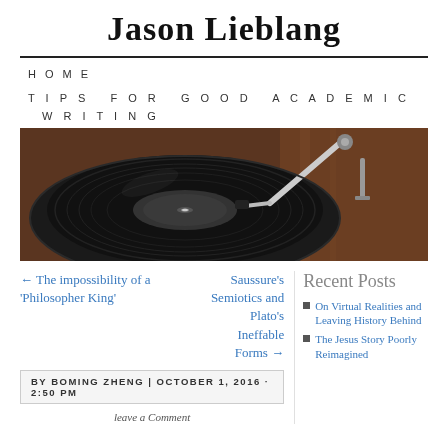Jason Lieblang
HOME
TIPS FOR GOOD ACADEMIC WRITING
[Figure (photo): Close-up photograph of a vinyl record turntable with a tonearm/stylus visible, set against a warm brown wooden background.]
← The impossibility of a 'Philosopher King'
Saussure's Semiotics and Plato's Ineffable Forms →
BY BOMING ZHENG | OCTOBER 1, 2016 · 2:50 PM
Recent Posts
On Virtual Realities and Leaving History Behind
The Jesus Story Poorly Reimagined